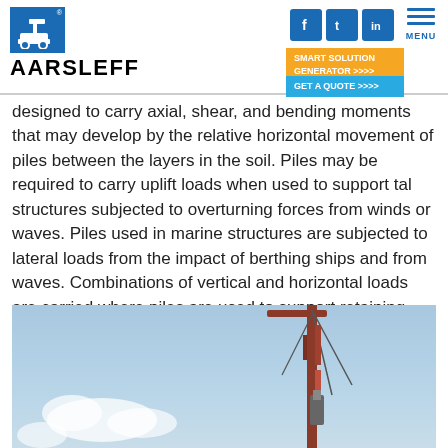AARSLEFF
designed to carry axial, shear, and bending moments that may develop by the relative horizontal movement of piles between the layers in the soil. Piles may be required to carry uplift loads when used to support tal structures subjected to overturning forces from winds or waves. Piles used in marine structures are subjected to lateral loads from the impact of berthing ships and from waves. Combinations of vertical and horizontal loads are carried where piles are used to support retaining walls, bridge piers and abutments, and machinery foundations.
[Figure (photo): Construction crane/piling rig against a blue sky with clouds]